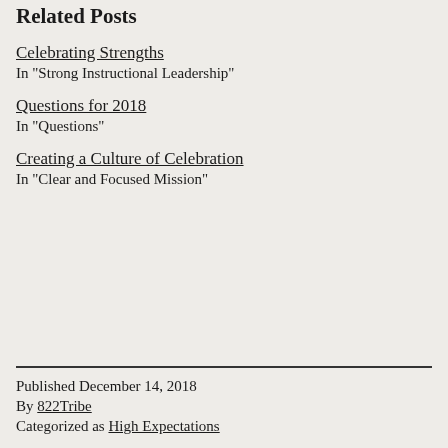Related Posts
Celebrating Strengths
In "Strong Instructional Leadership"
Questions for 2018
In "Questions"
Creating a Culture of Celebration
In "Clear and Focused Mission"
Published December 14, 2018
By 822Tribe
Categorized as High Expectations